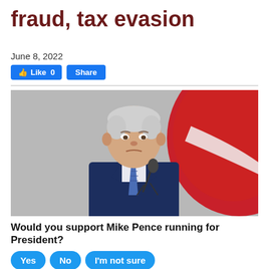fraud, tax evasion
June 8, 2022
[Figure (screenshot): Facebook Like and Share buttons]
[Figure (photo): Mike Pence standing at a microphone podium, wearing a dark blue suit and striped tie, with a red and white background (likely an American flag)]
Would you support Mike Pence running for President?
[Figure (screenshot): Three poll buttons: Yes, No, I'm not sure]